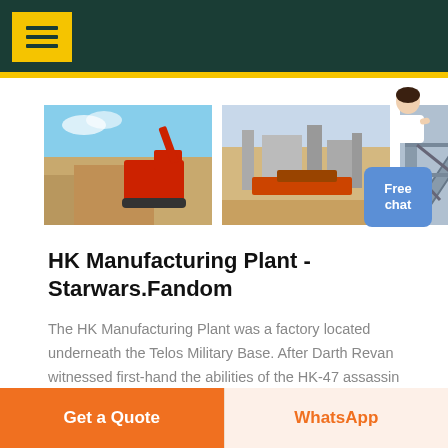[Figure (photo): Three industrial/mining plant photos side by side: a red excavator at a mining site, an outdoor industrial processing plant, and a conveyor/industrial structure. A customer service chat widget with avatar is visible on the right.]
HK Manufacturing Plant - Starwars.Fandom
The HK Manufacturing Plant was a factory located underneath the Telos Military Base. After Darth Revan witnessed first-hand the abilities of the HK-47 assassin droid he created, he decided that
Get a Quote | WhatsApp